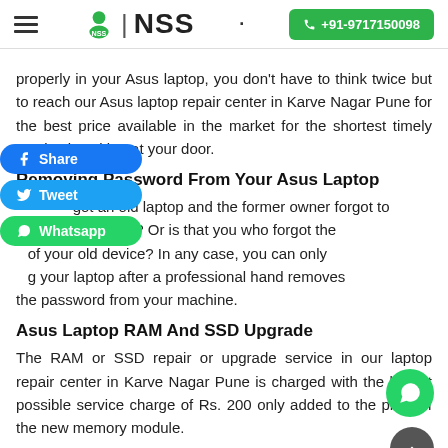NSS | +91-9717150098
properly in your Asus laptop, you don't have to think twice but to reach our Asus laptop repair center in Karve Nagar Pune for the best price available in the market for the shortest timely service knocking at your door.
Removing Password From Your Asus Laptop
...got an old laptop and the former owner forgot to the password? Or is that you who forgot the ...of your old device? In any case, you can only ...g your laptop after a professional hand removes the password from your machine.
Asus Laptop RAM And SSD Upgrade
The RAM or SSD repair or upgrade service in our laptop repair center in Karve Nagar Pune is charged with the lowest possible service charge of Rs. 200 only added to the price of the new memory module.
Why Choose NSS As Your Personal Asus Laptop Repair